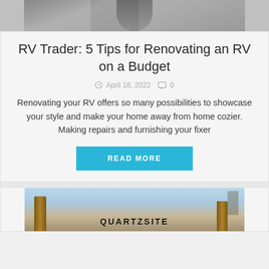[Figure (photo): Top portion of a photo showing a person in a dark outfit, partially cropped]
RV Trader: 5 Tips for Renovating an RV on a Budget
April 18, 2022  0
Renovating your RV offers so many possibilities to showcase your style and make your home away from home cozier. Making repairs and furnishing your fixer
READ MORE
[Figure (photo): Bottom portion showing a Quartzsite sign with brick pillars and bare trees in the background]